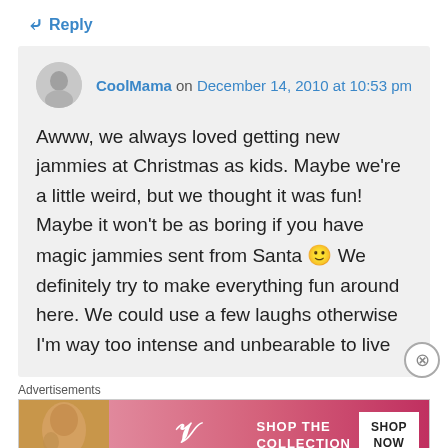↳ Reply
CoolMama on December 14, 2010 at 10:53 pm
Awww, we always loved getting new jammies at Christmas as kids. Maybe we're a little weird, but we thought it was fun! Maybe it won't be as boring if you have magic jammies sent from Santa 🙂 We definitely try to make everything fun around here. We could use a few laughs otherwise I'm way too intense and unbearable to live
Advertisements
[Figure (photo): Victoria's Secret advertisement banner with a woman's photo, VS logo, text 'SHOP THE COLLECTION', and 'SHOP NOW' button]